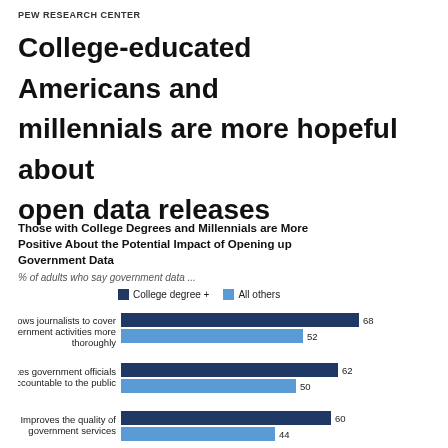PEW RESEARCH CENTER
College-educated Americans and millennials are more hopeful about open data releases
Those with College Degrees and Millennials are More Positive About the Potential Impact of Opening up Government Data
% of adults who say government data ...
[Figure (grouped-bar-chart): Those with College Degrees and Millennials are More Positive About the Potential Impact of Opening up Government Data]